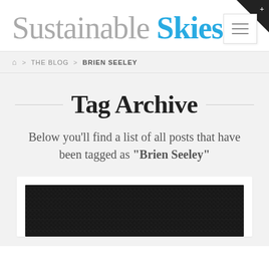Sustainable Skies
Home > THE BLOG > BRIEN SEELEY
Tag Archive
Below you'll find a list of all posts that have been tagged as "Brien Seeley"
[Figure (photo): Dark textured background image at bottom of page inside a white card]